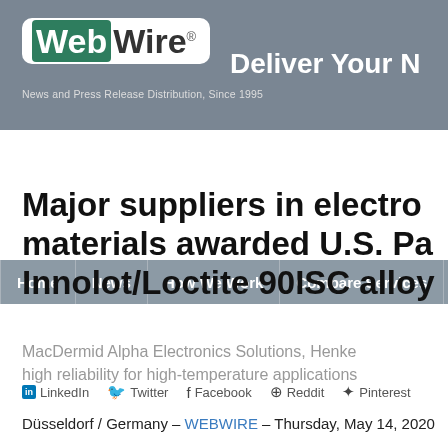WebWire® News and Press Release Distribution, Since 1995 — Deliver Your N
Home | News | How We Work | Compare Services
Major suppliers in electronics materials awarded U.S. Pa Innolot/Loctite 90ISC alloy
MacDermid Alpha Electronics Solutions, Henke high reliability for high-temperature applications
LinkedIn  Twitter  Facebook  Reddit  Pinterest
Düsseldorf / Germany – WEBWIRE – Thursday, May 14, 2020